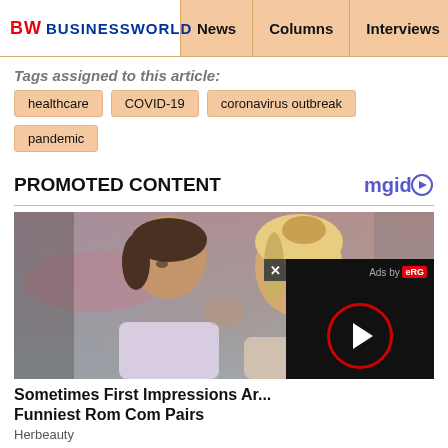BW BUSINESSWORLD | News | Columns | Interviews | BW
Tags assigned to this article:
healthcare
COVID-19
coronavirus outbreak
pandemic
PROMOTED CONTENT
[Figure (photo): Promotional content photo showing a romantic couple (man and woman facing each other closely, smiling). Overlaid with an ad video player showing a play button circle with red ring, and 'Ads by eRG' text. A close (x) button is visible.]
Sometimes First Impressions Ar... Funniest Rom Com Pairs
Herbeauty